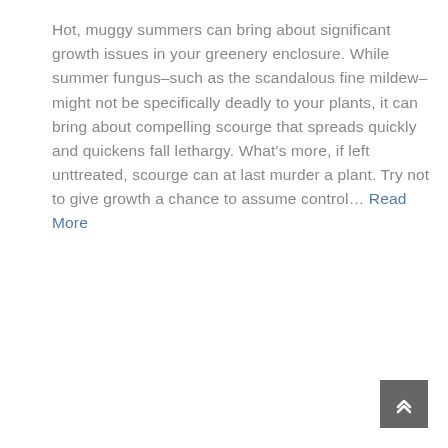Hot, muggy summers can bring about significant growth issues in your greenery enclosure. While summer fungus–such as the scandalous fine mildew–might not be specifically deadly to your plants, it can bring about compelling scourge that spreads quickly and quickens fall lethargy. What's more, if left unttreated, scourge can at last murder a plant. Try not to give growth a chance to assume control… Read More
BY: ONNO   RENOVATION
COMMENTS: GEEN REACTIES